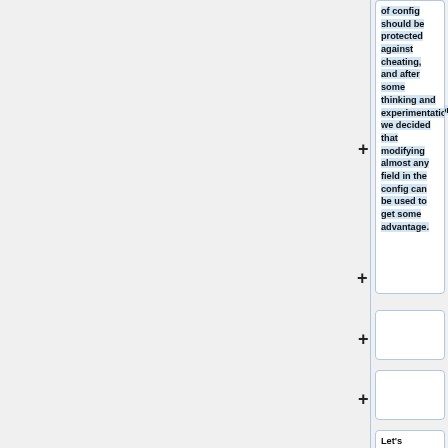of config should be protected against cheating, and after some thinking and experimentation we decided that modifying almost any field in the config can be used to get some advantage.
Let's consider two favourite config.bin modification